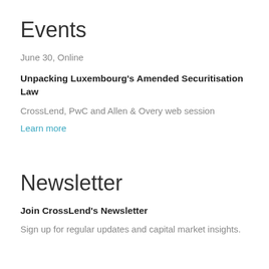Events
June 30, Online
Unpacking Luxembourg's Amended Securitisation Law
CrossLend, PwC and Allen & Overy web session
Learn more
Newsletter
Join CrossLend's Newsletter
Sign up for regular updates and capital market insights.